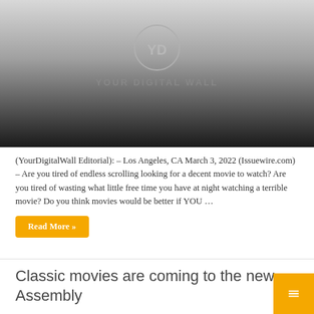[Figure (logo): YourDigitalWall logo with circular emblem showing 'YD' and text 'YOUR DIGITAL WALL' below, displayed on a gradient background from light gray at top to dark black at bottom]
(YourDigitalWall Editorial): – Los Angeles, CA March 3, 2022 (Issuewire.com) – Are you tired of endless scrolling looking for a decent movie to watch? Are you tired of wasting what little free time you have at night watching a terrible movie? Do you think movies would be better if YOU …
Read More »
Classic movies are coming to the new Assembly